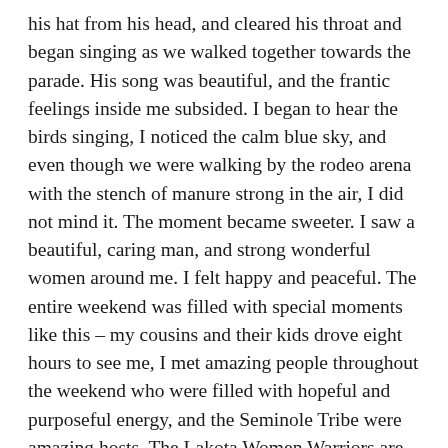his hat from his head, and cleared his throat and began singing as we walked together towards the parade. His song was beautiful, and the frantic feelings inside me subsided. I began to hear the birds singing, I noticed the calm blue sky, and even though we were walking by the rodeo arena with the stench of manure strong in the air, I did not mind it. The moment became sweeter. I saw a beautiful, caring man, and strong wonderful women around me. I felt happy and peaceful. The entire weekend was filled with special moments like this – my cousins and their kids drove eight hours to see me, I met amazing people throughout the weekend who were filled with hopeful and purposeful energy, and the Seminole Tribe were amazing hosts. The Lakota Women Warriors are full of patience, love, kindness, generosity and humility – it is at the forefront of all they do. We came together to represent our nation, our tribes, communities and families, and we represented them well. The day after I flew home, I woke up inspired, at peace, and excited for my future with this group.